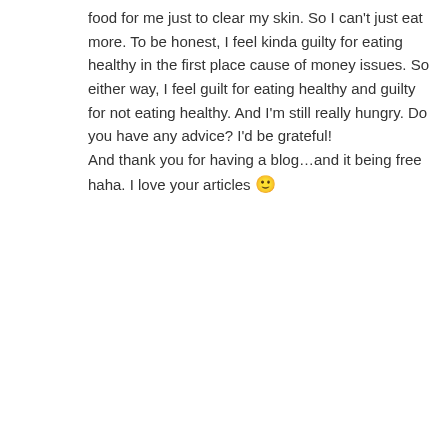food for me just to clear my skin. So I can't just eat more. To be honest, I feel kinda guilty for eating healthy in the first place cause of money issues. So either way, I feel guilt for eating healthy and guilty for not eating healthy. And I'm still really hungry. Do you have any advice? I'd be grateful!
And thank you for having a blog…and it being free haha. I love your articles 🙂
Reply
Tracy Raftl says:
July 23, 2017 at 8:41 am
Hi Tina! Yes, eating enough is really important. With each meal, maybe try to eat good fats, protein (meat, or beans or nuts), some kind of starch (gluten free bread, rice, quinoa, etc), and then non-starchy vegetables. (like 1/3, 1/3,1/3 and a tablespoon of fat) And yes, you may need to up the volume of food just a